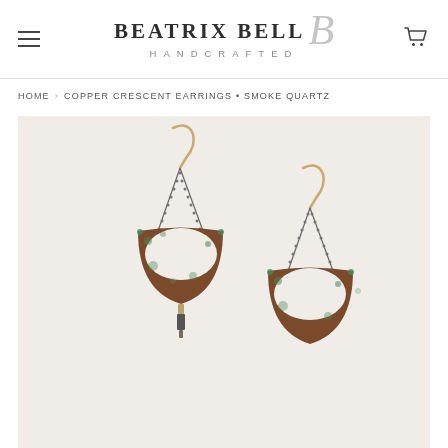BEATRIX BELL HANDCRAFTED
HOME › COPPER CRESCENT EARRINGS • SMOKE QUARTZ
[Figure (photo): Product photo of Copper Crescent Earrings with Smoke Quartz. Two handcrafted copper crescent-shaped earrings with patina/verdigris finish, hanging from gold ear wires via dark metal chains, with a small smoke quartz bead drop at the bottom of the left earring. Photographed on a light background.]